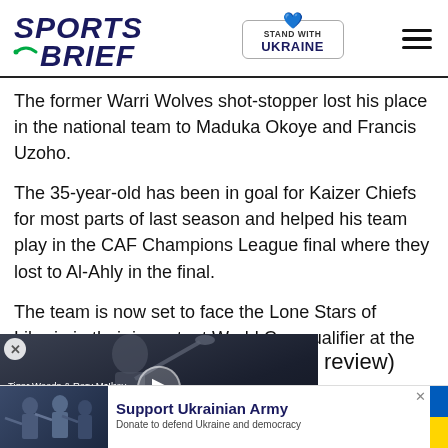Sports Brief | Stand with Ukraine
The former Warri Wolves shot-stopper lost his place in the national team to Maduka Okoye and Francis Uzoho.
The 35-year-old has been in goal for Kaizer Chiefs for most parts of last season and helped his team play in the CAF Champions League final where they lost to Al-Ahly in the final.
The team is now set to face the Lone Stars of Liberia in their important World Cup qualifier at the Teslim Balogun Stadium
[Figure (screenshot): Video player overlay showing Tiger Woods and Rory McIlroy Launch New High-Tech Golf Competition, with play button and minimize arrow]
review)
aported that the journey to
[Figure (other): Advertisement banner: Support Ukrainian Army - Donate to defend Ukraine and democracy, with soldiers image and Ukrainian flag colors]